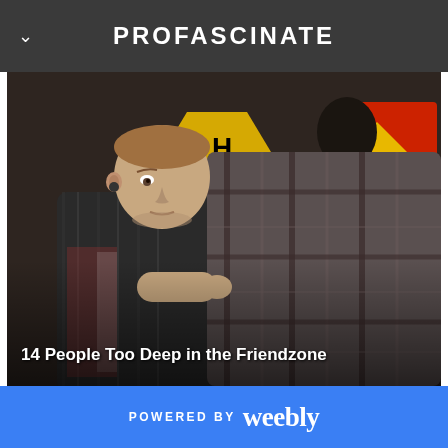PROFASCINATE
[Figure (photo): Two people in a social scene; one with a short buzz cut wearing a plaid shirt leans toward another person in a plaid shirt. Background has warning signs including one reading 'DANG INTERS'. Caption overlay reads '14 People Too Deep in the Friendzone'.]
POWERED BY weebly